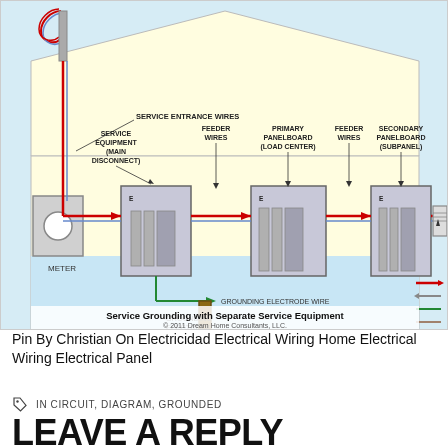[Figure (schematic): Electrical service grounding diagram showing service entrance wires, meter, service equipment (main disconnect), primary panelboard (load center), secondary panelboard (subpanel), feeder wires, grounding electrode wire, grounding electrode, and branch circuit wires. Legend shows ungrounded (hot) wire in red, grounded (neutral) wire in gray, bonding means in green, grounding means in brown. Caption: 'Service Grounding with Separate Service Equipment. © 2011 Dream Home Consultants, LLC.']
Pin By Christian On Electricidad Electrical Wiring Home Electrical Wiring Electrical Panel
IN CIRCUIT, DIAGRAM, GROUNDED
LEAVE A REPLY